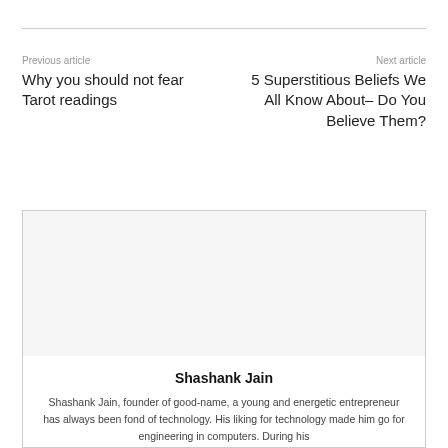Previous article
Why you should not fear Tarot readings
Next article
5 Superstitious Beliefs We All Know About– Do You Believe Them?
[Figure (other): Author avatar/photo placeholder area inside bordered box]
Shashank Jain
Shashank Jain, founder of good-name, a young and energetic entrepreneur has always been fond of technology. His liking for technology made him go for engineering in computers. During his